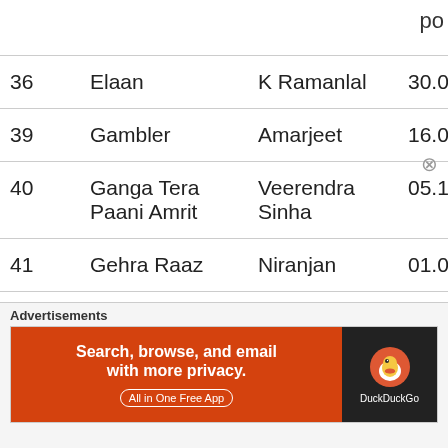po
| # | Title | Director | Date | Status |
| --- | --- | --- | --- | --- |
| 36 | Elaan | K Ramanlal | 30.04.1971 | Yi |
| 39 | Gambler | Amarjeet | 16.02.1971 | Yi |
| 40 | Ganga Tera Paani Amrit | Veerendra Sinha | 05.11.1971 | Yi |
| 41 | Gehra Raaz | Niranjan | 01.02.1971 | Yi |
| 42 | Guddi | Hrishikesh Mukherjee | 14.09.1971 | Yi |
[Figure (infographic): DuckDuckGo advertisement banner: orange left panel with text 'Search, browse, and email with more privacy. All in One Free App' and dark right panel with DuckDuckGo logo and text 'DuckDuckGo']